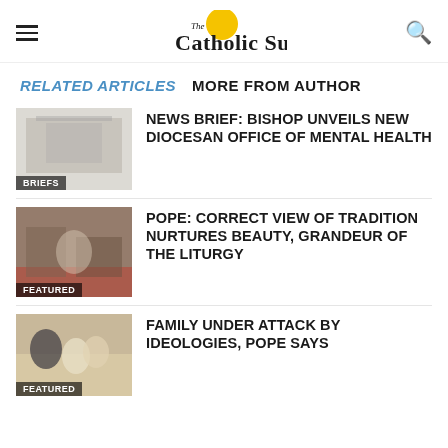The Catholic Sun
RELATED ARTICLES   MORE FROM AUTHOR
[Figure (photo): Thumbnail image of a church interior or building, with 'BRIEFS' label overlay]
NEWS BRIEF: BISHOP UNVEILS NEW DIOCESAN OFFICE OF MENTAL HEALTH
[Figure (photo): Thumbnail image of Pope at a ceremony/mass, with 'FEATURED' label overlay]
POPE: CORRECT VIEW OF TRADITION NURTURES BEAUTY, GRANDEUR OF THE LITURGY
[Figure (photo): Thumbnail image of Pope meeting people, with 'FEATURED' label overlay]
FAMILY UNDER ATTACK BY IDEOLOGIES, POPE SAYS